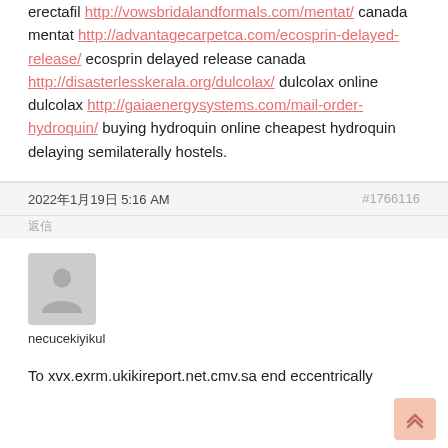erectafil http://vowsbridalandformals.com/mentat/ canada mentat http://advantagecarpetca.com/ecosprin-delayed-release/ ecosprin delayed release canada http://disasterlesskerala.org/dulcolax/ dulcolax online dulcolax http://gaiaenergysystems.com/mail-order-hydroquin/ buying hydroquin online cheapest hydroquin delaying semilaterally hostels.
2022年1月19日 5:16 AM
#1766116
返信
[Figure (illustration): Default gray user avatar icon showing a silhouette of a person]
necucekiyikul
To xvx.exrm.ukikireport.net.cmv.sa end eccentrically